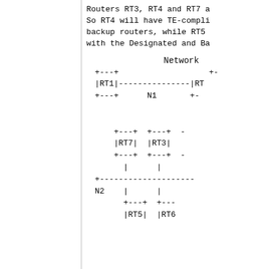Routers RT3, RT4 and RT7 a...
So RT4 will have TE-compli...
backup routers, while RT5...
with the Designated and Ba...
Network
[Figure (engineering-diagram): Network topology diagram showing routers RT1, RT7, RT3, RT5, RT6, RT4 connected via links N1 and N2, depicted as ASCII art box-and-line diagram.]